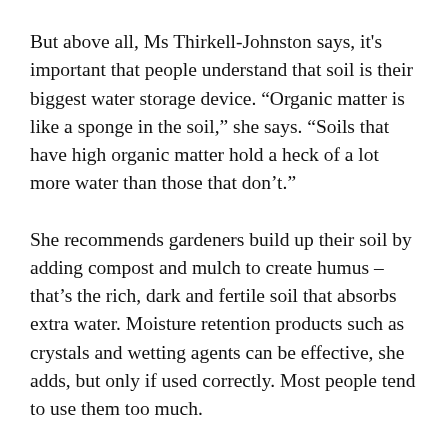But above all, Ms Thirkell-Johnston says, it's important that people understand that soil is their biggest water storage device. “Organic matter is like a sponge in the soil,” she says. “Soils that have high organic matter hold a heck of a lot more water than those that don’t.”
She recommends gardeners build up their soil by adding compost and mulch to create humus – that’s the rich, dark and fertile soil that absorbs extra water. Moisture retention products such as crystals and wetting agents can be effective, she adds, but only if used correctly. Most people tend to use them too much.
On plant selection, Ms Thirkell-Johnston says